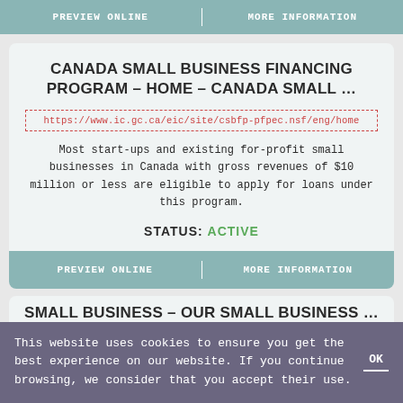PREVIEW ONLINE | MORE INFORMATION
CANADA SMALL BUSINESS FINANCING PROGRAM – HOME – CANADA SMALL …
https://www.ic.gc.ca/eic/site/csbfp-pfpec.nsf/eng/home
Most start-ups and existing for-profit small businesses in Canada with gross revenues of $10 million or less are eligible to apply for loans under this program.
STATUS: ACTIVE
PREVIEW ONLINE | MORE INFORMATION
SMALL BUSINESS – OUR SMALL BUSINESS …
This website uses cookies to ensure you get the best experience on our website. If you continue browsing, we consider that you accept their use. OK